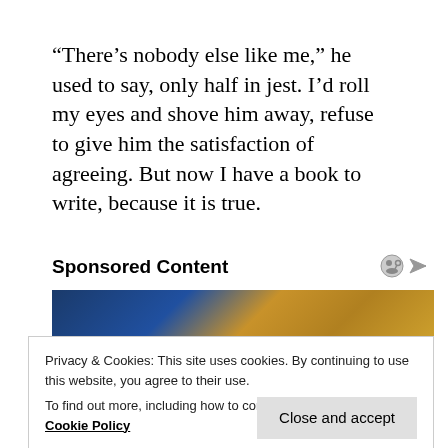“There’s nobody else like me,” he used to say, only half in jest. I’d roll my eyes and shove him away, refuse to give him the satisfaction of agreeing. But now I have a book to write, because it is true.
Sponsored Content
[Figure (photo): Photo of bullets/ammunition arranged in rows, partially visible at top]
Privacy & Cookies: This site uses cookies. By continuing to use this website, you agree to their use.
To find out more, including how to control cookies, see here: Cookie Policy
Close and accept
[Figure (photo): Photo with red, white and blue colors partially visible at bottom]